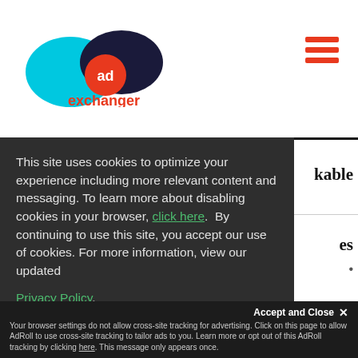[Figure (logo): AdExchanger logo with cyan and dark blue overlapping ovals, orange 'ad' text, and 'exchanger' in orange text below]
[Figure (other): Hamburger menu icon with three red horizontal bars on the right side of the header]
PLATFORMS
kable
This site uses cookies to optimize your experience including more relevant content and messaging. To learn more about disabling cookies in your browser, click here.  By continuing to use this site, you accept our use of cookies. For more information, view our updated Privacy Policy.
es
Accept and Close ✕
Your browser settings do not allow cross-site tracking for advertising. Click on this page to allow AdRoll to use cross-site tracking to tailor ads to you. Learn more or opt out of this AdRoll tracking by clicking here. This message only appears once.